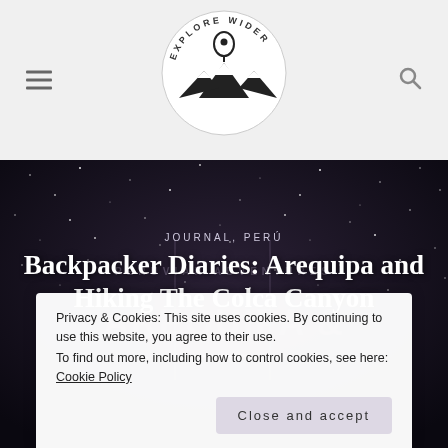Explore Wider — navigation header with hamburger menu, logo, and search icon
[Figure (logo): Explore Wider circular logo with mountain silhouette and location pin icon]
Backpacker Diaries: Arequipa and Hiking The Colca Canyon
JOURNAL, PERÚ
Privacy & Cookies: This site uses cookies. By continuing to use this website, you agree to their use.
To find out more, including how to control cookies, see here: Cookie Policy
Close and accept